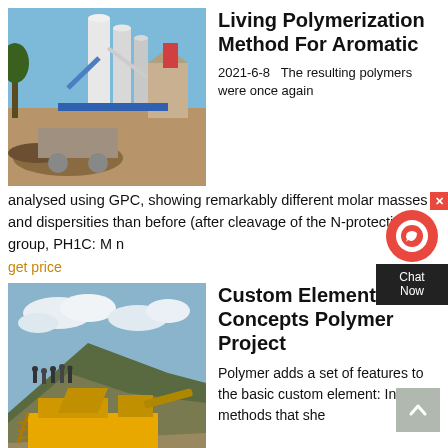[Figure (photo): Industrial facility with silos, pipes and machinery at a mineral processing plant under blue sky]
Living Polymerization Method For Aromatic
2021-6-8  The resulting polymers were once again analysed using GPC, showing remarkably different molar masses and dispersities than before (after cleavage of the N-protecting group, PH1C: M n
get price
[Figure (photo): Yellow mobile crushing/quarrying machine on a large stone aggregate pile with workers standing on top, cloudy sky]
Custom Element Concepts Polymer Project
Polymer adds a set of features to the basic custom element: Instance methods that she